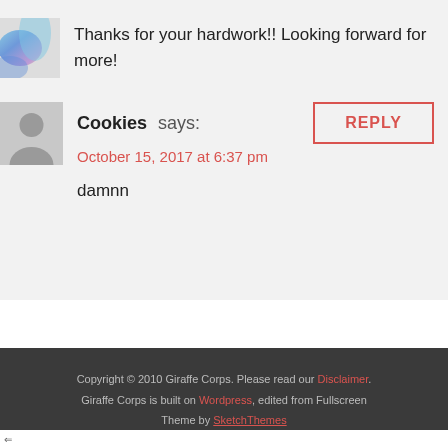Thanks for your hardwork!! Looking forward for more!
Cookies says:
October 15, 2017 at 6:37 pm
damnn
Copyright © 2010 Giraffe Corps. Please read our Disclaimer.
Giraffe Corps is built on Wordpress, edited from Fullscreen Theme by SketchThemes